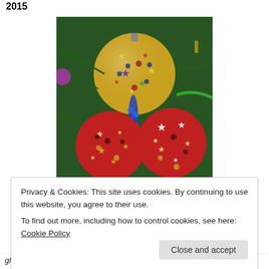2015
[Figure (photo): Three decorative Christmas ornament balls on a pine tree. One gold ball with stars and sequins on top, two red balls with stars and sequins below, connected by blue beaded wire.]
Privacy & Cookies: This site uses cookies. By continuing to use this website, you agree to their use.
To find out more, including how to control cookies, see here: Cookie Policy
glitter, paintoglue, plastic tablecloth or newspaper to cover